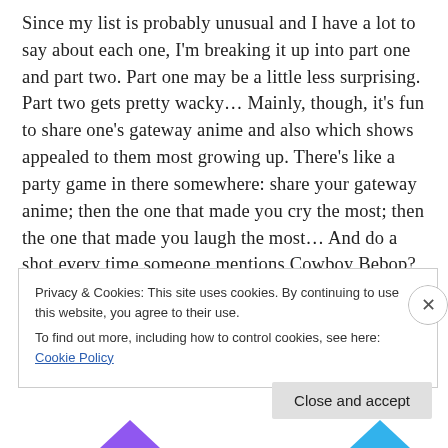Since my list is probably unusual and I have a lot to say about each one, I'm breaking it up into part one and part two. Part one may be a little less surprising. Part two gets pretty wacky... Mainly, though, it's fun to share one's gateway anime and also which shows appealed to them most growing up. There's like a party game in there somewhere: share your gateway anime; then the one that made you cry the most; then the one that made you laugh the most... And do a shot every time someone mentions Cowboy Bebop?
Privacy & Cookies: This site uses cookies. By continuing to use this website, you agree to their use.
To find out more, including how to control cookies, see here: Cookie Policy
Close and accept